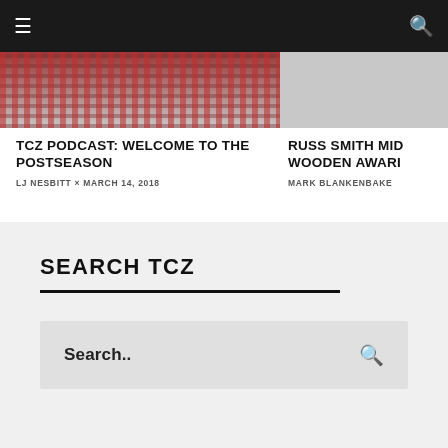Navigation bar with hamburger menu and search icon
[Figure (photo): Basketball game photo showing crowd and players in red uniforms]
[Figure (photo): Gray/partially visible sports photo]
TCZ PODCAST: WELCOME TO THE POSTSEASON
LJ NESBITT × MARCH 14, 2018
RUSS SMITH MID WOODEN AWARI
MARK BLANKENBAKE
SEARCH TCZ
Search..